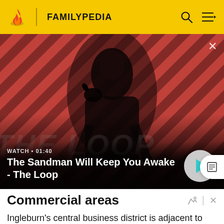FAMILYPEDIA
[Figure (screenshot): Video thumbnail showing a dark-dressed figure with a black bird on shoulder against a red and dark diagonal striped background. Title reads 'The Sandman Will Keep You Awake - The Loop'. Watch duration shown as 01:40. Play button visible on right.]
WATCH • 01:40
The Sandman Will Keep You Awake - The Loop
Commercial areas
Ingleburn's central business district is adjacent to the railway station and includes two shopping centres called Ingleburn Fair and Ingleburn Town Centre as well as a small shopping area on Lagonda Drive.